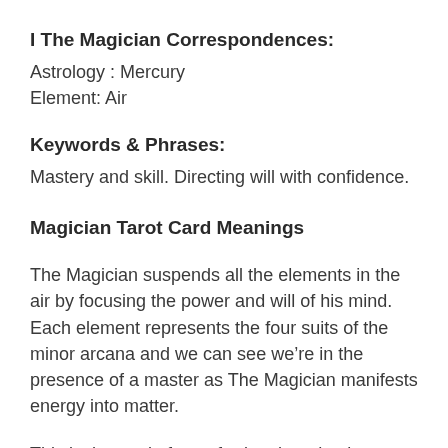I The Magician Correspondences:
Astrology : Mercury
Element: Air
Keywords & Phrases:
Mastery and skill. Directing will with confidence.
Magician Tarot Card Meanings
The Magician suspends all the elements in the air by focusing the power and will of his mind. Each element represents the four suits of the minor arcana and we can see we’re in the presence of a master as The Magician manifests energy into matter.
This is the card of transferring thoughts into